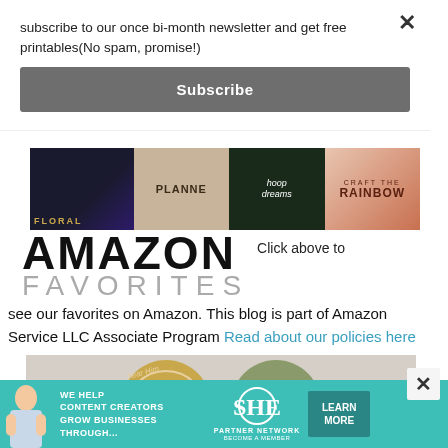subscribe to our once bi-month newsletter and get free printables(No spam, promise!)
Subscribe
[Figure (photo): Amazon Favorites banner with four book covers: Floral, Planner, Hoop Dreams, Craft the Rainbow]
AMAZON FAVORITES
Click above to see our favorites on Amazon. This blog is part of Amazon Service LLC Associate Program Read about our policies here
[Figure (photo): Two arch-shaped stickers on wood background - one gold with Christ figure, one green with temple, both decorated with flowers. Text reads 'hear Him']
[Figure (infographic): SHE Partner Network advertisement: We help content creators grow businesses through... Learn More button]